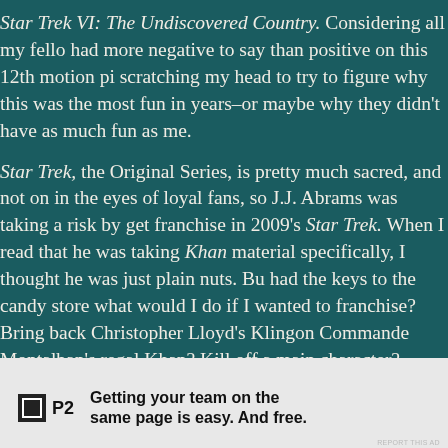Star Trek VI: The Undiscovered Country. Considering all my fellow had more negative to say than positive on this 12th motion pic scratching my head to try to figure why this was the most fun in years–or maybe why they didn't have as much fun as me. Star Trek, the Original Series, is pretty much sacred, and not only in the eyes of loyal fans, so J.J. Abrams was taking a risk by getting the franchise in 2009's Star Trek. When I read that he was taking on Khan material specifically, I thought he was just plain nuts. But had the keys to the candy store what would I do if I wanted to the franchise? Bring back Christopher Lloyd's Klingon Commander, Montalban's regal Khan? Kill off a main character? Abrams did what we would love to do, and I expect, this should set our expectations for the third trilogy of the Star Wars franchise, which will have a massive audience and implications for Abrams' own future.
[Figure (other): Advertisement banner: P2 logo with text 'Getting your team on the same page is easy. And free.']